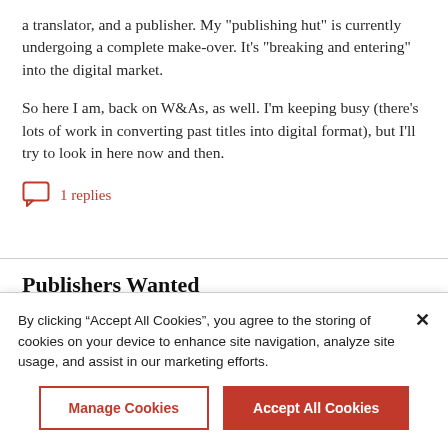a translator, and a publisher. My "publishing hut" is currently undergoing a complete make-over. It's "breaking and entering" into the digital market.
So here I am, back on W&As, as well. I'm keeping busy (there's lots of work in converting past titles into digital format), but I'll try to look in here now and then.
1 replies
Publishers Wanted
By clicking “Accept All Cookies”, you agree to the storing of cookies on your device to enhance site navigation, analyze site usage, and assist in our marketing efforts.